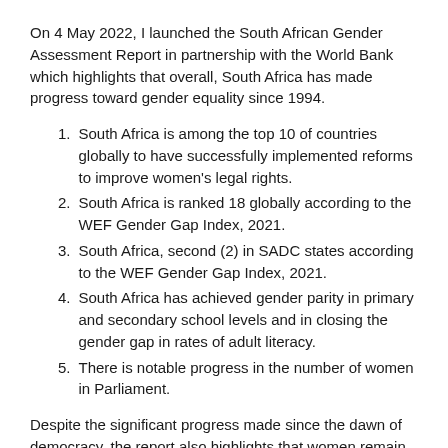On 4 May 2022, I launched the South African Gender Assessment Report in partnership with the World Bank which highlights that overall, South Africa has made progress toward gender equality since 1994.
South Africa is among the top 10 of countries globally to have successfully implemented reforms to improve women's legal rights.
South Africa is ranked 18 globally according to the WEF Gender Gap Index, 2021.
South Africa, second (2) in SADC states according to the WEF Gender Gap Index, 2021.
South Africa has achieved gender parity in primary and secondary school levels and in closing the gender gap in rates of adult literacy.
There is notable progress in the number of women in Parliament.
Despite the significant progress made since the dawn of democracy, the report also highlights that women remain marginalized in the mainstream economy and economic opportunities available in the country.